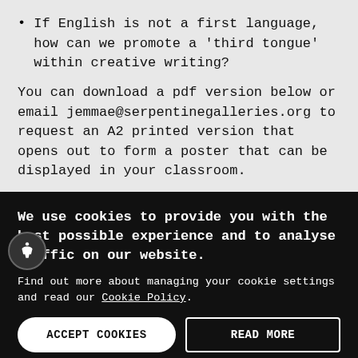If English is not a first language, how can we promote a 'third tongue' within creative writing?
You can download a pdf version below or email jemmae@serpentinegalleries.org to request an A2 printed version that opens out to form a poster that can be displayed in your classroom.
Cracks in the Curriculum
We use cookies to provide you with the best possible experience and to analyse traffic on our website.
Find out more about managing your cookie settings and read our Cookie Policy.
ACCEPT COOKIES
READ MORE